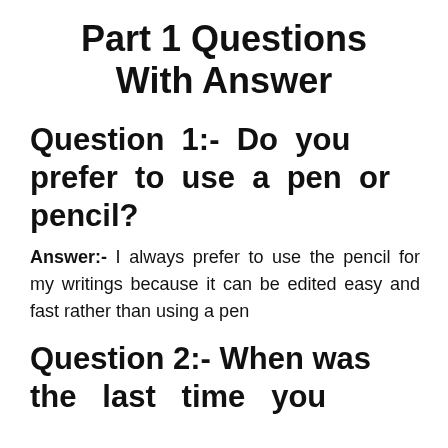Part 1 Questions With Answer
Question 1:- Do you prefer to use a pen or pencil?
Answer:- I always prefer to use the pencil for my writings because it can be edited easy and fast rather than using a pen
Question 2:- When was the last time you